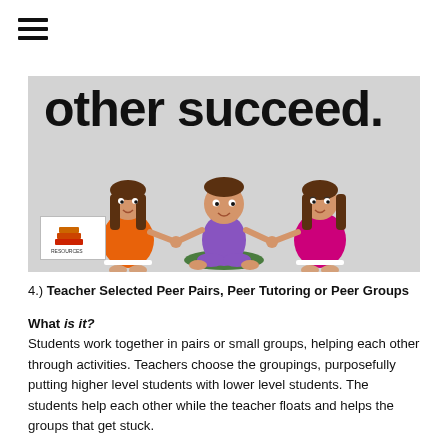[Figure (illustration): Banner image with light gray background showing text 'other succeed.' in large bold black font, and cartoon illustration of three children sitting in a circle holding hands — one boy in purple shirt seated cross-legged in center, and two girls in orange and pink dresses on either side. A small logo box with a books/teacher icon appears in the bottom left of the banner.]
4.) Teacher Selected Peer Pairs, Peer Tutoring or Peer Groups
What is it?
Students work together in pairs or small groups, helping each other through activities. Teachers choose the groupings, purposefully putting higher level students with lower level students. The students help each other while the teacher floats and helps the groups that get stuck.